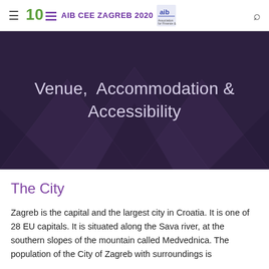≡  AIB CEE ZAGREB 2020  🔍
Venue, Accommodation & Accessibility
The City
Zagreb is the capital and the largest city in Croatia. It is one of 28 EU capitals. It is situated along the Sava river, at the southern slopes of the mountain called Medvednica. The population of the City of Zagreb with surroundings is